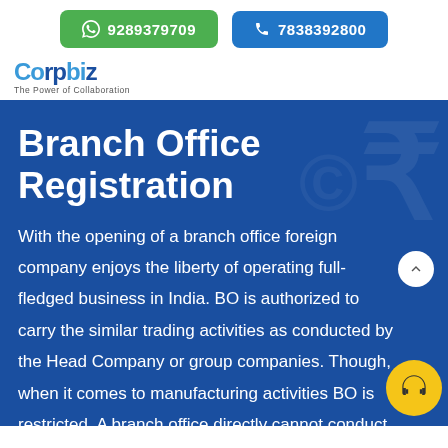9289379709  7838392800
[Figure (logo): Corpbiz logo with tagline 'The Power of Collaboration']
Branch Office Registration
With the opening of a branch office foreign company enjoys the liberty of operating full-fledged business in India. BO is authorized to carry the similar trading activities as conducted by the Head Company or group companies. Though, when it comes to manufacturing activities BO is restricted. A branch office directly cannot conduct manufacturing activities though it has